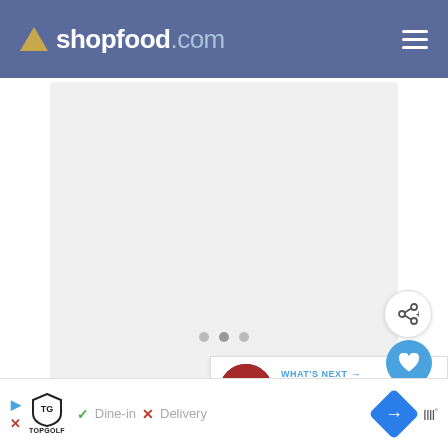shopfood.com
[Figure (screenshot): Blank image slideshow placeholder with three navigation dots]
[Figure (screenshot): What's Next panel: Trader Joe's store photo thumbnail with label 'WHAT'S NEXT' and text 'Does Trader Joe's Have...']
1. Download the Target app, which is available for both iOS and Android
[Figure (infographic): Advertisement banner: Topgolf logo, Dine-in checkmark, Delivery X mark, navigation arrow icon, signal bars]